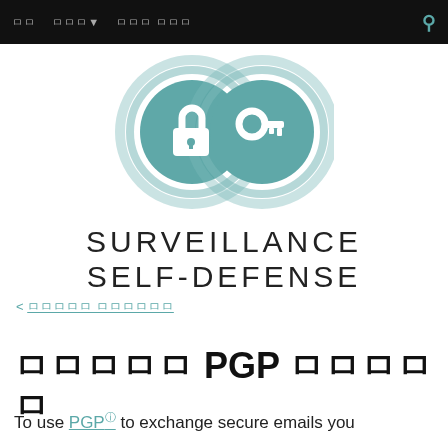ㅁㅁ  ㅁㅁㅁ▼ ㅁㅁㅁ ㅁㅁㅁ
[Figure (logo): Surveillance Self-Defense logo: two overlapping circular rings in teal, one containing a padlock icon and one containing a key icon, with the text SURVEILLANCE SELF-DEFENSE below in spaced capital letters]
< ㅁㅁㅁㅁㅁ ㅁㅁㅁㅁㅁㅁ
ㅁㅁㅁㅁㅁ ㅁPGP ㅁㅁㅁㅁㅁ
To use PGP to exchange secure emails you